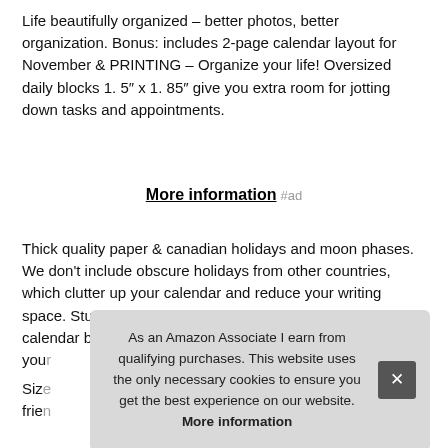Life beautifully organized – better photos, better organization. Bonus: includes 2-page calendar layout for November & PRINTING – Organize your life! Oversized daily blocks 1. 5″ x 1. 85″ give you extra room for jotting down tasks and appointments.
More information #ad
Thick quality paper & canadian holidays and moon phases. We don't include obscure holidays from other countries, which clutter up your calendar and reduce your writing space. Sturdy & durable - you know it's a red ember calendar because it last[s …] your[…]
Size[…] frien[dly …]
As an Amazon Associate I earn from qualifying purchases. This website uses the only necessary cookies to ensure you get the best experience on our website. More information